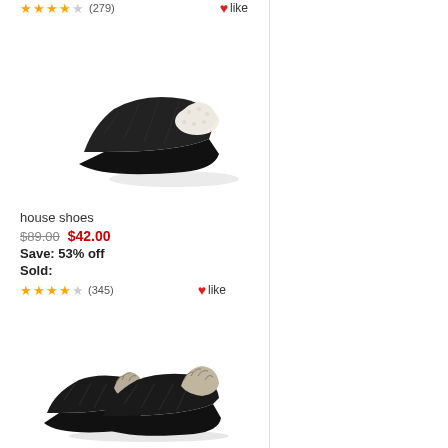[Figure (photo): Black knit house slippers with white sherpa lining, viewed from the side]
house shoes
$89.00  $42.00
Save: 53% off
Sold:
(345) like
[Figure (photo): Black cable-knit slippers with faux fur trim at collar, pair shown from side angle]